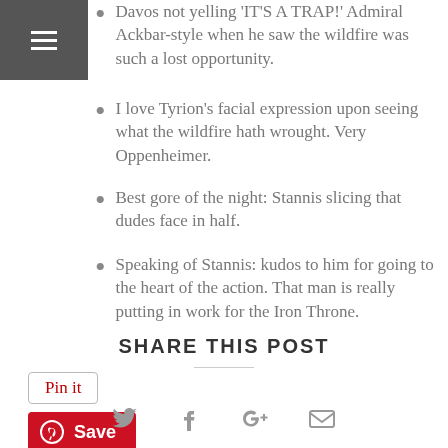Navigation menu (hamburger icon)
Davos not yelling 'IT'S A TRAP!' Admiral Ackbar-style when he saw the wildfire was such a lost opportunity.
I love Tyrion's facial expression upon seeing what the wildfire hath wrought. Very Oppenheimer.
Best gore of the night: Stannis slicing that dudes face in half.
Speaking of Stannis: kudos to him for going to the heart of the action. That man is really putting in work for the Iron Throne.
[Figure (other): Pin it button and Pinterest Save button (red)]
SHARE THIS POST
[Figure (other): Social share icons: Twitter, Facebook, Google+, Email]